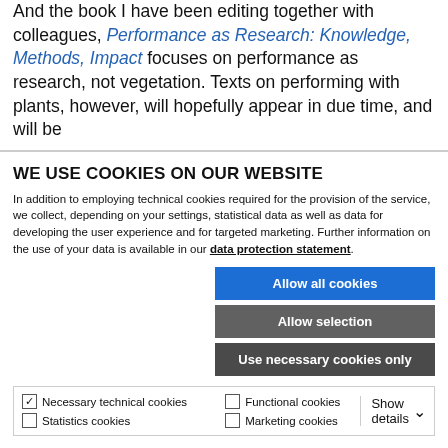And the book I have been editing together with colleagues, Performance as Research: Knowledge, Methods, Impact focuses on performance as research, not vegetation. Texts on performing with plants, however, will hopefully appear in due time, and will be
WE USE COOKIES ON OUR WEBSITE
In addition to employing technical cookies required for the provision of the service, we collect, depending on your settings, statistical data as well as data for developing the user experience and for targeted marketing. Further information on the use of your data is available in our data protection statement.
Allow all cookies
Allow selection
Use necessary cookies only
Necessary technical cookies | Functional cookies | Show details | Statistics cookies | Marketing cookies